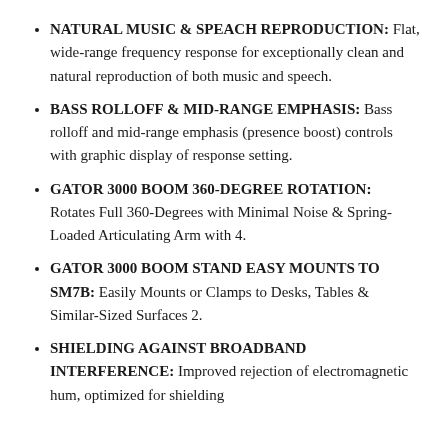NATURAL MUSIC & SPEACH REPRODUCTION: Flat, wide-range frequency response for exceptionally clean and natural reproduction of both music and speech.
BASS ROLLOFF & MID-RANGE EMPHASIS: Bass rolloff and mid-range emphasis (presence boost) controls with graphic display of response setting.
GATOR 3000 BOOM 360-DEGREE ROTATION: Rotates Full 360-Degrees with Minimal Noise & Spring-Loaded Articulating Arm with 4.
GATOR 3000 BOOM STAND EASY MOUNTS TO SM7B: Easily Mounts or Clamps to Desks, Tables & Similar-Sized Surfaces 2.
SHIELDING AGAINST BROADBAND INTERFERENCE: Improved rejection of electromagnetic hum, optimized for shielding